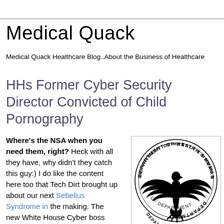Medical Quack
Medical Quack Healthcare Blog..About the Business of Healthcare
HHs Former Cyber Security Director Convicted of Child Pornography
Where's the NSA when you need them, right?  Heck with all they have, why didn't they catch this guy:)  I do like the content here too that Tech Dirt brought up about our next Sebelius Syndrome in the making.  The new White House Cyber boss proudly tells everyone how little he knows about cyber security.  Well thank you
[Figure (logo): Department of Health & Human Services USA circular seal logo with eagle emblem]